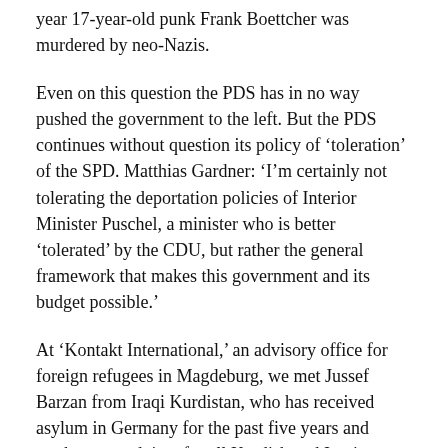year 17-year-old punk Frank Boettcher was murdered by neo-Nazis.
Even on this question the PDS has in no way pushed the government to the left. But the PDS continues without question its policy of 'toleration' of the SPD. Matthias Gardner: 'I'm certainly not tolerating the deportation policies of Interior Minister Puschel, a minister who is better 'tolerated' by the CDU, but rather the general framework that makes this government and its budget possible.'
At 'Kontakt International,' an advisory office for foreign refugees in Magdeburg, we met Jussef Barzan from Iraqi Kurdistan, who has received asylum in Germany for the past five years and works as an advisor for all Kurdish and Iraqi refugees in Sachsen-Anhalt. On 'Fathers Day' in 1994 he was among the victims. Seeking to flee from the gang of right-wing thugs, he was beaten up by the police and